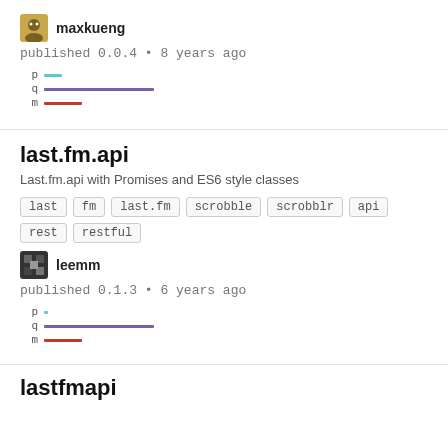maxkueng
published 0.0.4 • 8 years ago
[Figure (infographic): Three horizontal colored bars labeled p (short cyan), q (medium purple), m (short red) representing package metrics]
last.fm.api
Last.fm.api with Promises and ES6 style classes
last
fm
last.fm
scrobble
scrobblr
api
rest
restful
leemm
published 0.1.3 • 6 years ago
[Figure (infographic): Three horizontal colored bars labeled p (tiny cyan dot), q (medium purple), m (short red) representing package metrics]
lastfmapi